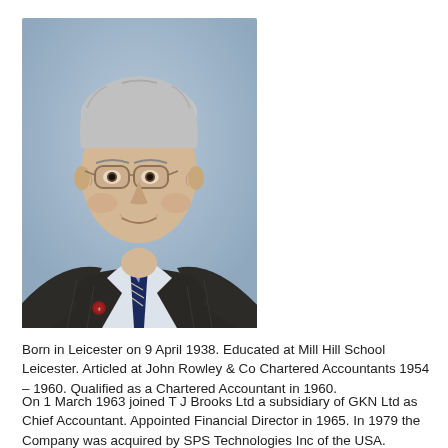[Figure (photo): Professional headshot of an elderly man with white/grey hair, glasses with tinted lenses, wearing a dark pinstripe suit and a navy striped tie with a badge/pin. Blue-grey background.]
Born in Leicester on 9 April 1938. Educated at Mill Hill School Leicester. Articled at John Rowley & Co Chartered Accountants 1954 – 1960. Qualified as a Chartered Accountant in 1960.
On 1 March 1963 joined T J Brooks Ltd a subsidiary of GKN Ltd as Chief Accountant. Appointed Financial Director in 1965. In 1979 the Company was acquired by SPS Technologies Inc of the USA. Appointed Managing Director in 1982.